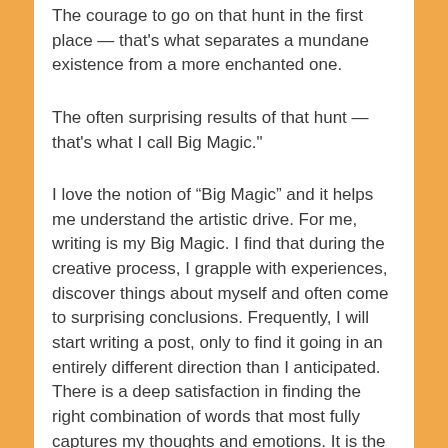The courage to go on that hunt in the first place — that's what separates a mundane existence from a more enchanted one.
The often surprising results of that hunt — that's what I call Big Magic."
I love the notion of “Big Magic” and it helps me understand the artistic drive. For me, writing is my Big Magic. I find that during the creative process, I grapple with experiences, discover things about myself and often come to surprising conclusions. Frequently, I will start writing a post, only to find it going in an entirely different direction than I anticipated. There is a deep satisfaction in finding the right combination of words that most fully captures my thoughts and emotions. It is the joy of finding my “buried treasure.”  When Gilbert challenges us to have the courage to bring forth the treasures that are hidden within us, I think of the trepidation I feel each time I push the Publish button. Blogging makes the creative process frightening, invigorating and more rewarding by openly sharing my